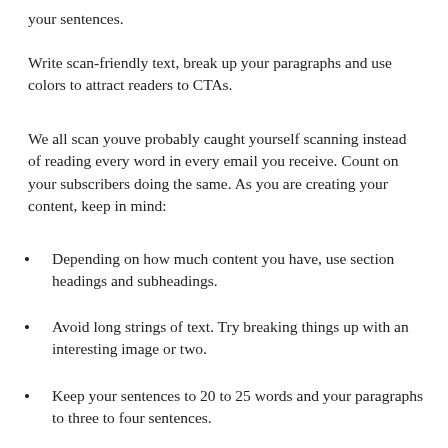your sentences.
Write scan-friendly text, break up your paragraphs and use colors to attract readers to CTAs.
We all scan youve probably caught yourself scanning instead of reading every word in every email you receive. Count on your subscribers doing the same. As you are creating your content, keep in mind:
Depending on how much content you have, use section headings and subheadings.
Avoid long strings of text. Try breaking things up with an interesting image or two.
Keep your sentences to 20 to 25 words and your paragraphs to three to four sentences.